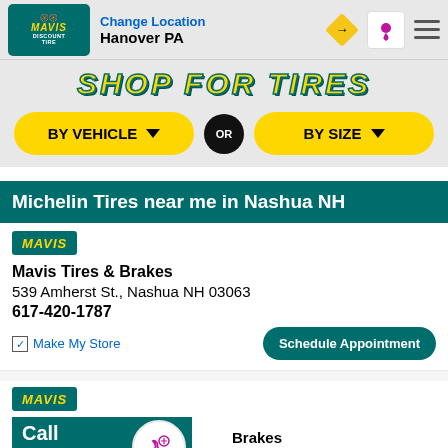Change Location — Hanover PA
[Figure (screenshot): Shop for Tires banner with yellow italic text on grey background]
BY VEHICLE ▼  OR  BY SIZE ▼
Michelin Tires near me in Nashua NH
[Figure (logo): MAVIS badge/logo in teal with yellow italic text]
Mavis Tires & Brakes
539 Amherst St., Nashua NH 03063
617-420-1787
✓ Make My Store    Schedule Appointment
[Figure (logo): MAVIS badge/logo in teal with yellow italic text (second store)]
Mavis Tires & Brakes
...oster Hwy, Nashua NH 03060
Call Store